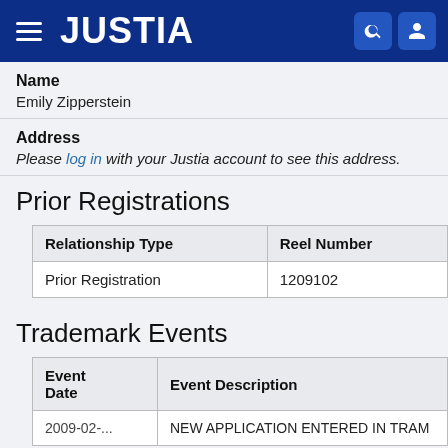JUSTIA
Name
Emily Zipperstein
Address
Please log in with your Justia account to see this address.
Prior Registrations
| Relationship Type | Reel Number |
| --- | --- |
| Prior Registration | 1209102 |
Trademark Events
| Event Date | Event Description |
| --- | --- |
| 2009-02-... | NEW APPLICATION ENTERED IN TRAM |